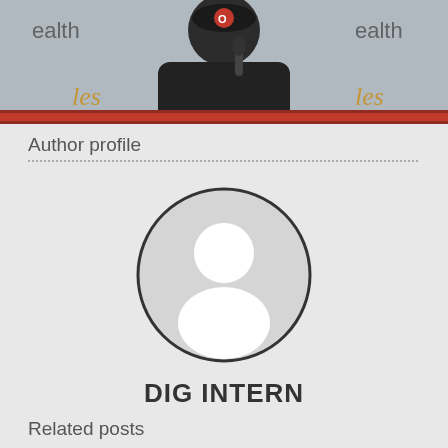[Figure (photo): Photo banner of a person wearing a black t-shirt with text, holding a microphone, with Baltimore Orioles branding visible in the background. Text 'ealth' visible on left and right.]
Author profile
[Figure (illustration): Generic user avatar: white silhouette of a person (head and shoulders) inside a circle outline, on a light grey background]
DIG INTERN
Related posts